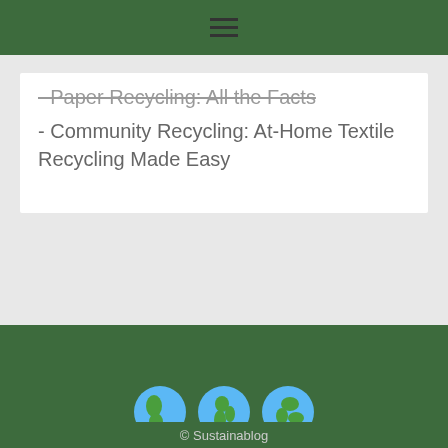≡
- Paper Recycling: All the Facts
- Community Recycling: At-Home Textile Recycling Made Easy
[Figure (illustration): Three globe emoji icons representing the Americas, Europe/Africa, and Asia/Pacific regions]
© Sustainablog